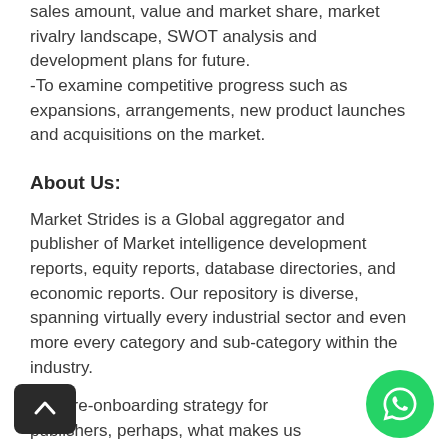sales amount, value and market share, market rivalry landscape, SWOT analysis and development plans for future.
-To examine competitive progress such as expansions, arrangements, new product launches and acquisitions on the market.
About Us:
Market Strides is a Global aggregator and publisher of Market intelligence development reports, equity reports, database directories, and economic reports. Our repository is diverse, spanning virtually every industrial sector and even more every category and sub-category within the industry.
Our pre-onboarding strategy for publishers, perhaps, what makes us stand out in the market space. Publishers & their market